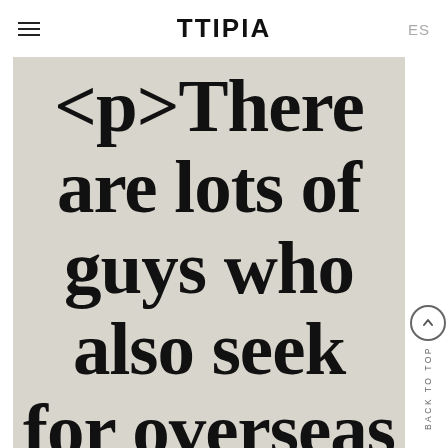TTIPIA | ES
[Figure (other): Large bold serif text on a light grey background reading: <p>There are lots of guys who also seek for overseas girls]
BACK TO TOP